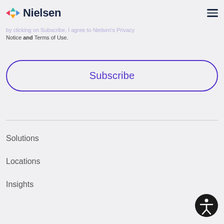Nielsen
by clicking on Subscribe, I agree to Nielsen's Privacy Notice and Terms of Use.
Subscribe
Solutions
Locations
Insights
[Figure (illustration): Accessibility icon — circular button with a human figure silhouette (universal accessibility symbol), dark circle with white figure]